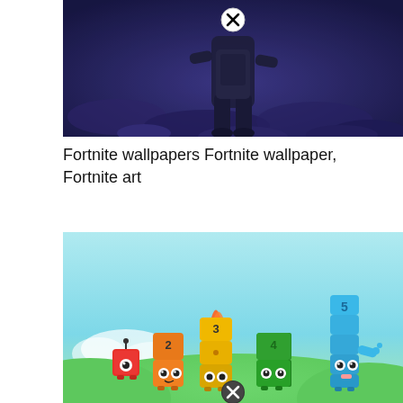[Figure (photo): Dark armored character (Fortnite) viewed from above in a blue-toned environment, with a circular X close button at the top center]
Fortnite wallpapers Fortnite wallpaper, Fortnite art
[Figure (photo): Numberblocks 1-5 toy figures on a green hill with blue sky background, numbered characters in red, orange, yellow, green, and blue, with a circular X close button at the bottom center]